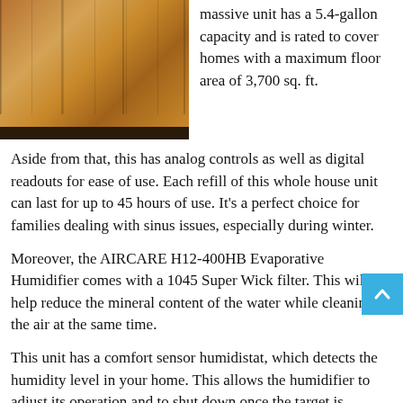[Figure (photo): Photo of an AIRCARE wooden cabinet-style humidifier with brown burl wood finish and dark base]
massive unit has a 5.4-gallon capacity and is rated to cover homes with a maximum floor area of 3,700 sq. ft.
Aside from that, this has analog controls as well as digital readouts for ease of use. Each refill of this whole house unit can last for up to 45 hours of use. It's a perfect choice for families dealing with sinus issues, especially during winter.
Moreover, the AIRCARE H12-400HB Evaporative Humidifier comes with a 1045 Super Wick filter. This will help reduce the mineral content of the water while cleaning the air at the same time.
This unit has a comfort sensor humidistat, which detects the humidity level in your home. This allows the humidifier to adjust its operation and to shut down once the target is reached.
Since this is a bulky and massive unit, it helps a lot that